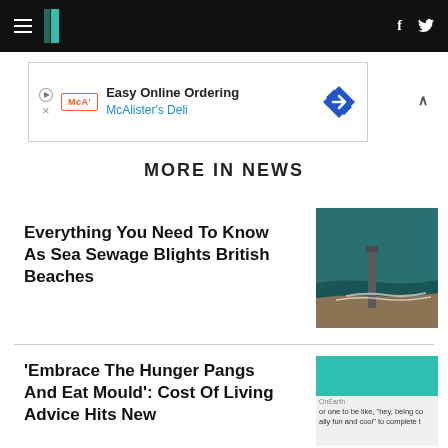HuffPost navigation bar with hamburger menu, logo, Facebook and Twitter icons
[Figure (screenshot): Advertisement banner: Easy Online Ordering – McAlister's Deli with logo and diamond direction icon]
MORE IN NEWS
Everything You Need To Know As Sea Sewage Blights British Beaches
[Figure (photo): Aerial photo of a sewage pipe or outfall at a beach with teal water and sandy shore]
'Embrace The Hunger Pangs And Eat Mould': Cost Of Living Advice Hits New...
[Figure (screenshot): Partial image with teal/green block, OnEarth credit, and text snippet about being cool and fun]